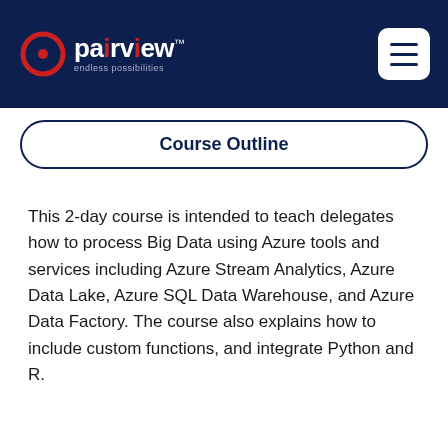pairview™ — endless possibilities
Course Outline
This 2-day course is intended to teach delegates how to process Big Data using Azure tools and services including Azure Stream Analytics, Azure Data Lake, Azure SQL Data Warehouse, and Azure Data Factory. The course also explains how to include custom functions, and integrate Python and R.